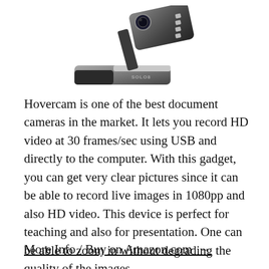[Figure (photo): A Hovercam document camera device — a compact black and grey unit with a tilted arm/head containing a lens, several buttons on top, and a flat base. The word 'SOLO8' appears on the side.]
Hovercam is one of the best document cameras in the market. It lets you record HD video at 30 frames/sec using USB and directly to the computer. With this gadget, you can get very clear pictures since it can be able to record live images in 1080pp and also HD video. This device is perfect for teaching and also for presentation. One can be able to zoom in without degrading the quality of the images.
More Info / Buy on Amazon.com →